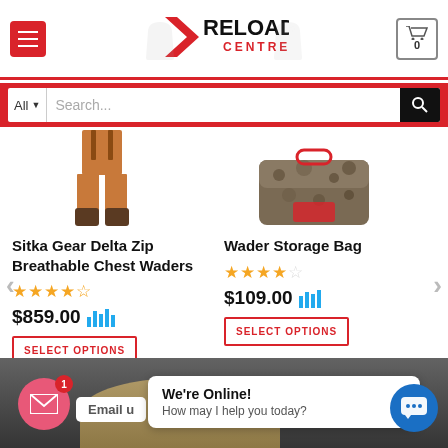[Figure (screenshot): Reload Centre website header with hamburger menu, logo, and cart icon showing 0]
[Figure (screenshot): Search bar with All category dropdown and search input field on red background]
Sitka Gear Delta Zip Breathable Chest Waders
4.5 stars rating
$859.00
SELECT OPTIONS
Wader Storage Bag
4 stars rating
$109.00
SELECT OPTIONS
[Figure (screenshot): Bottom overlay with email bubble notification badge showing 1, Email us label, We're Online chat popup, and blue chat button]